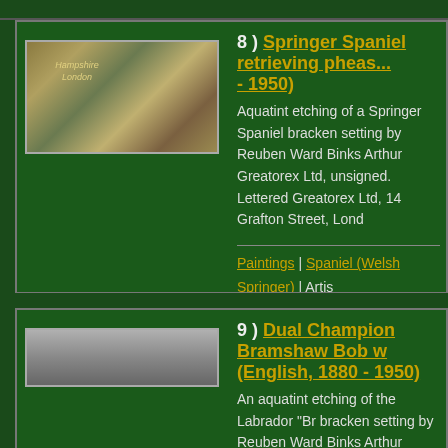[Figure (photo): Thumbnail image of a Springer Spaniel painting in a woodland/bracken setting, warm golden-green tones with text overlay]
8 ) Springer Spaniel retrieving pheasant - 1950)
Aquatint etching of a Springer Spaniel bracken setting by Reuben Ward Binks Arthur Greatorex Ltd, unsigned. Lettered Greatorex Ltd, 14 Grafton Street, Lond
Paintings | Spaniel (Welsh Springer) | Artis 1934 |
[Figure (photo): Thumbnail image of Dual Champion Bramshaw Bob, a Labrador, aquatint etching, partially visible]
9 ) Dual Champion Bramshaw Bob w (English, 1880 - 1950)
An aquatint etching of the Labrador "Br bracken setting by Reuben Ward Binks Arthur Greatorex Ltd, unsigned. Lettere Greatorex Ltd, 14 Grafton Street, Lond regardless of the field and show bench Howe's Banchory Kennels. One such c